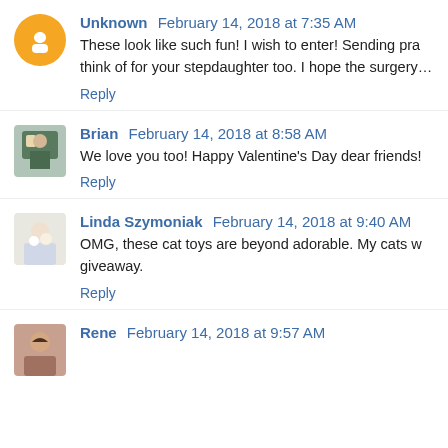Unknown February 14, 2018 at 7:35 AM
These look like such fun! I wish to enter! Sending pra... think of for your stepdaughter too. I hope the surgery...
Reply
Brian February 14, 2018 at 8:58 AM
We love you too! Happy Valentine's Day dear friends!
Reply
Linda Szymoniak February 14, 2018 at 9:40 AM
OMG, these cat toys are beyond adorable. My cats w... giveaway.
Reply
Rene February 14, 2018 at 9:57 AM